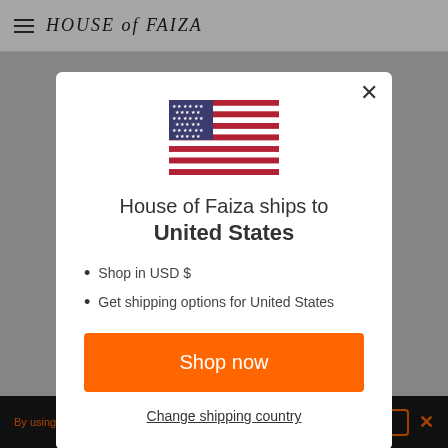[Figure (screenshot): Website screenshot with modal dialog. Background shows House of Faiza website header (hamburger menu, logo) and dark cookie bar at bottom. A modal popup overlays the page showing a US flag, shipping information, and a shop now button.]
House of Faiza ships to United States
Shop in USD $
Get shipping options for United States
Shop now
Change shipping country
By using this site you agree to the use of cookies.  Ok  ✕